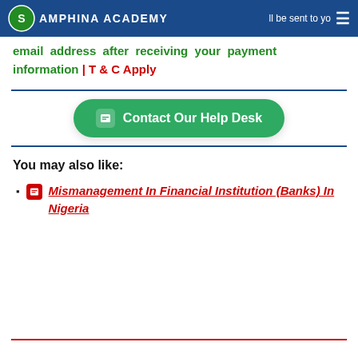SAMPHINA ACADEMY ... will be sent to your email address after receiving your payment information | T & C Apply
email address after receiving your payment information | T & C Apply
[Figure (other): Contact Our Help Desk green button]
You may also like:
Mismanagement In Financial Institution (Banks) In Nigeria